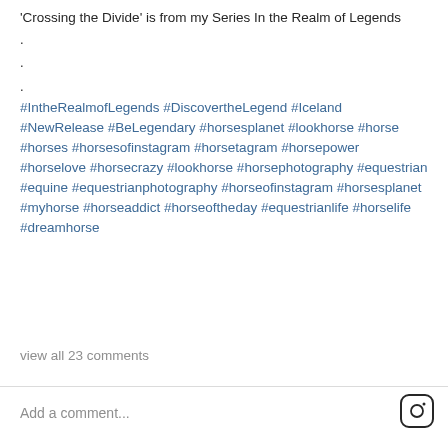'Crossing the Divide' is from my Series In the Realm of Legends
.
.
.
#IntheRealmofLegends #DiscovertheLegend #Iceland #NewRelease #BeLegendary #horsesplanet #lookhorse #horse #horses #horsesofinstagram #horsetagram #horsepower #horselove #horsecrazy #lookhorse #horsephotography #equestrian #equine #equestrianphotography #horseofinstagram #horsesplanet #myhorse #horseaddict #horseoftheday #equestrianlife #horselife #dreamhorse
view all 23 comments
Add a comment...
The Icelandic Horse is legendary and is considered to be one of the oldest horse breeds in the world
3K Share  3K